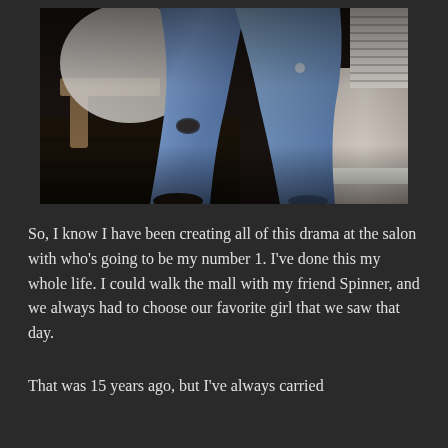[Figure (photo): Cropped lower-body shot of a person wearing blue skinny jeans with a rip at the knee, a white flowing top, and dark shoes. The background shows dark hardwood floors, a wooden furniture piece, and white baseboard/window blinds.]
So, I know I have been creating all of this drama at the salon with who’s going to be my number 1. I’ve done this my whole life. I could walk the mall with my friend Spinner, and we always had to choose our favorite girl that we saw that day.
That was 15 years ago, but I’ve always carried